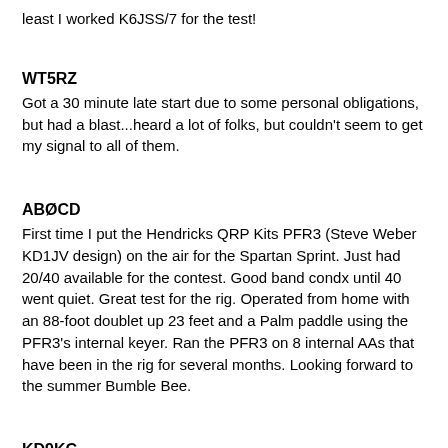least I worked K6JSS/7 for the test!
WT5RZ
Got a 30 minute late start due to some personal obligations, but had a blast...heard a lot of folks, but couldn't seem to get my signal to all of them.
ABØCD
First time I put the Hendricks QRP Kits PFR3 (Steve Weber KD1JV design) on the air for the Spartan Sprint. Just had 20/40 available for the contest. Good band condx until 40 went quiet. Great test for the rig. Operated from home with an 88-foot doublet up 23 feet and a Palm paddle using the PFR3's internal keyer. Ran the PFR3 on 8 internal AAs that have been in the rig for several months. Looking forward to the summer Bumble Bee.
KD9KC
The wind was howling in El Paso, so out-door operating was